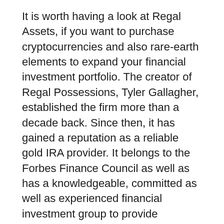It is worth having a look at Regal Assets, if you want to purchase cryptocurrencies and also rare-earth elements to expand your financial investment portfolio. The creator of Regal Possessions, Tyler Gallagher, established the firm more than a decade back. Since then, it has gained a reputation as a reliable gold IRA provider. It belongs to the Forbes Finance Council as well as has a knowledgeable, committed as well as experienced financial investment group to provide bespoke advice to clients.
It is extremely basic to set up a precious metal IRA with Regal Assets. They provide a respectable option of IRS accredited rare-earth element bars as well as coins that can be kept in an IRA. To get going with the firm